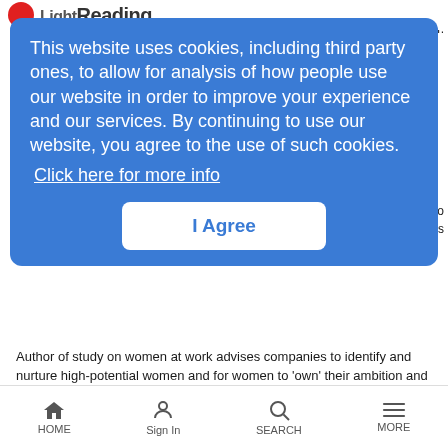Light Reading
This website uses cookies, including third party ones, to allow for analysis of how people use our website in order to improve your experience and our services. By continuing to use our website, you agree to the use of such cookies. Click here for more info
I Agree
Author of study on women at work advises companies to identify and nurture high-potential women and for women to 'own' their ambition and make their career intentions known.
[Figure (screenshot): Video thumbnail showing a man, with play button overlay]
Why Vendors Face a Procurement Pitfall
LRTV Interviews | 10/17/2016
HOME   Sign In   SEARCH   MORE